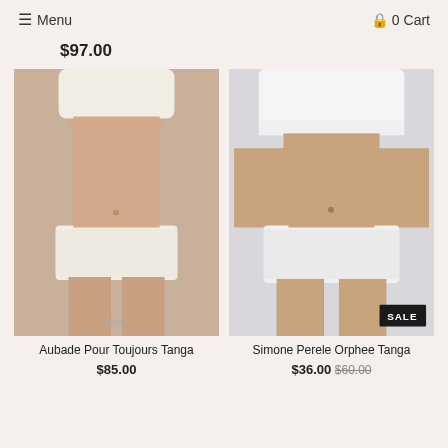≡ Menu   🔒 0 Cart
$97.00
[Figure (photo): Product photo of Aubade Pour Toujours Tanga – white lace underwear on model]
Aubade Pour Toujours Tanga
$85.00
[Figure (photo): Product photo of Simone Perele Orphee Tanga – white lace underwear on model, with SALE badge]
Simone Perele Orphee Tanga
$36.00 $60.00